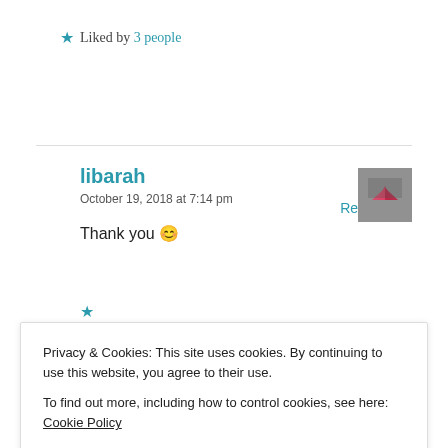★ Liked by 3 people
Reply
libarah
October 19, 2018 at 7:14 pm
Thank you 😊
Privacy & Cookies: This site uses cookies. By continuing to use this website, you agree to their use.
To find out more, including how to control cookies, see here: Cookie Policy
Close and accept